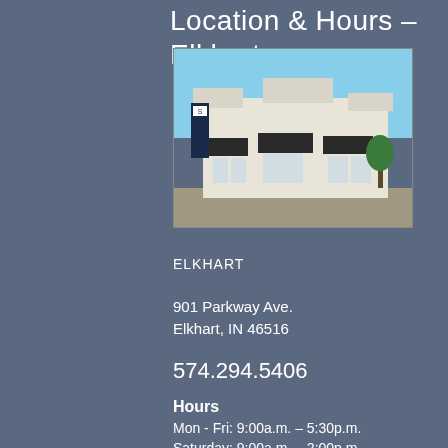Location & Hours – Elkhart
[Figure (photo): Exterior photo of a commercial building/branch location in Elkhart, with blue sky background and a parking lot in front.]
ELKHART
901 Parkway Ave.
Elkhart, IN 46516
574.294.5406
Hours
Mon - Fri: 9:00a.m. – 5:30p.m.
Saturday: 9:00a.m. – 2:00p.m.
Sunday: Closed